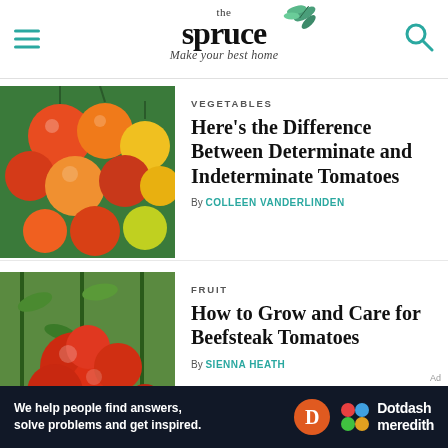the spruce — Make your best home
VEGETABLES
Here's the Difference Between Determinate and Indeterminate Tomatoes
By COLLEEN VANDERLINDEN
[Figure (photo): Close-up of colorful cherry tomatoes (red, orange, yellow) growing on vines]
FRUIT
How to Grow and Care for Beefsteak Tomatoes
By SIENNA HEATH
[Figure (photo): Clusters of large red tomatoes growing on vines in a greenhouse]
Ad
We help people find answers, solve problems and get inspired. Dotdash meredith